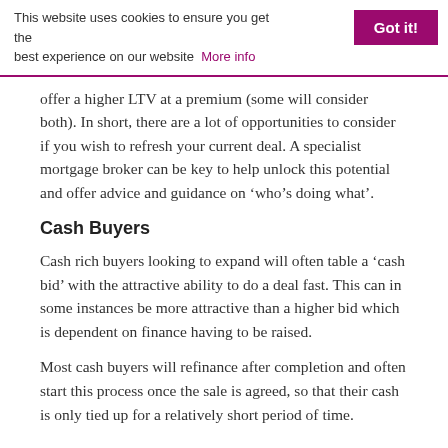This website uses cookies to ensure you get the best experience on our website  More info  Got it!
offer a higher LTV at a premium (some will consider both). In short, there are a lot of opportunities to consider if you wish to refresh your current deal. A specialist mortgage broker can be key to help unlock this potential and offer advice and guidance on ‘who’s doing what’.
Cash Buyers
Cash rich buyers looking to expand will often table a ‘cash bid’ with the attractive ability to do a deal fast. This can in some instances be more attractive than a higher bid which is dependent on finance having to be raised.
Most cash buyers will refinance after completion and often start this process once the sale is agreed, so that their cash is only tied up for a relatively short period of time.